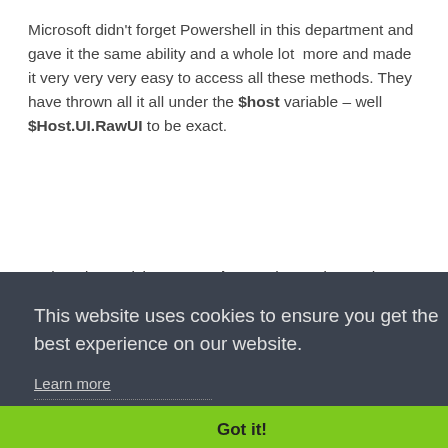Microsoft didn't forget Powershell in this department and gave it the same ability and a whole lot more and made it very very very easy to access all these methods. They have thrown all it all under the $host variable – well $Host.UI.RawUI to be exact.
So lets do a quick Get-Member on that and see what we get :-
This website uses cookies to ensure you get the best experience on our website.
Learn more
Got it!